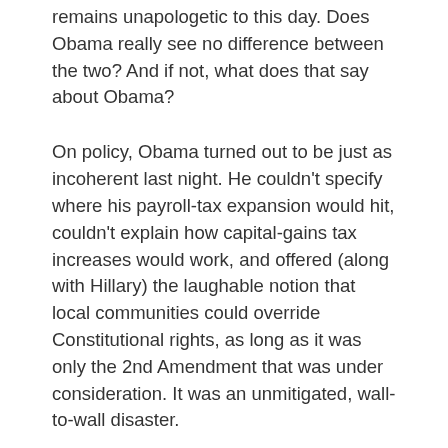remains unapologetic to this day. Does Obama really see no difference between the two? And if not, what does that say about Obama?
On policy, Obama turned out to be just as incoherent last night. He couldn’t specify where his payroll-tax expansion would hit, couldn’t explain how capital-gains tax increases would work, and offered (along with Hillary) the laughable notion that local communities could override Constitutional rights, as long as it was only the 2nd Amendment that was under consideration. It was an unmitigated, wall-to-wall disaster.
If superdelegates weren’t aware of Obama’s spectacular weaknesses before last night, they know them now. Under pressure, Obama looks lost and sounds unprepared. He will have no time to prep against John McCain in the fall, whose own personal narrative trumps Obama’s and whose lengthy track record in the Senate dwarfs the meager accomplishments of the one-term